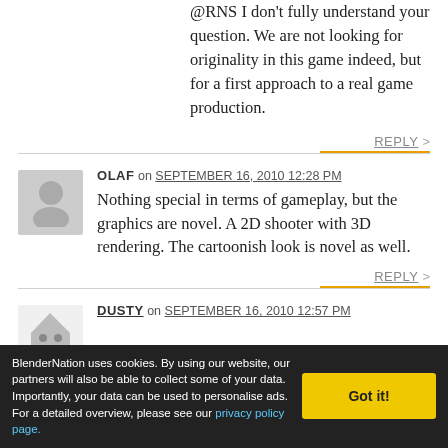@RNS I don't fully understand your question. We are not looking for originality in this game indeed, but for a first approach to a real game production.
REPLY >
OLAF on SEPTEMBER 16, 2010 12:28 PM
Nothing special in terms of gameplay, but the graphics are novel. A 2D shooter with 3D rendering. The cartoonish look is novel as well.
REPLY >
DUSTY on SEPTEMBER 16, 2010 12:57 PM
BlenderNation uses cookies. By using our website, our partners will also be able to collect some of your data. Importantly, your data can be used to personalise ads. For a detailed overview, please see our privacy policy page.